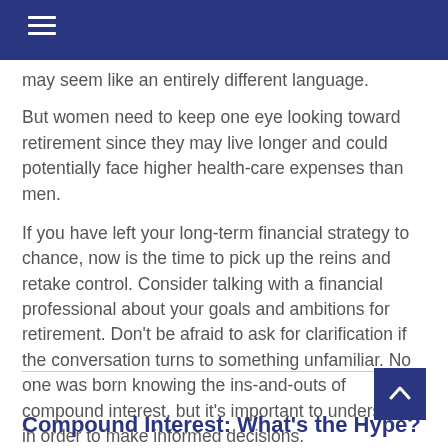may seem like an entirely different language.
But women need to keep one eye looking toward retirement since they may live longer and could potentially face higher health-care expenses than men.
If you have left your long-term financial strategy to chance, now is the time to pick up the reins and retake control. Consider talking with a financial professional about your goals and ambitions for retirement. Don’t be afraid to ask for clarification if the conversation turns to something unfamiliar. No one was born knowing the ins-and-outs of compound interest, but it’s important to understand in order to make informed decisions.
Compound Interest: What’s the Hype?